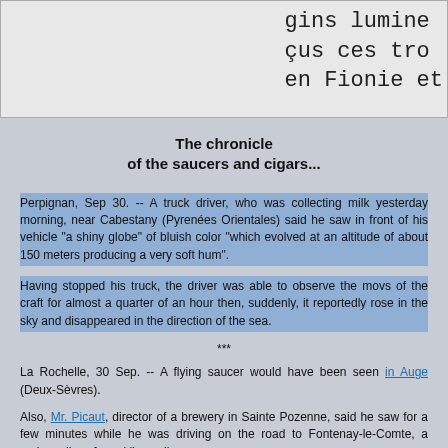[Figure (photo): Partial text clipping showing French text fragments: 'gins lumine', 'çus ces tro', 'en Fionie et']
The chronicle
of the saucers and cigars...
Perpignan, Sep 30. -- A truck driver, who was collecting milk yesterday morning, near Cabestany (Pyrenées Orientales) said he saw in front of his vehicle "a shiny globe" of bluish color "which evolved at an altitude of about 150 meters producing a very soft hum".
Having stopped his truck, the driver was able to observe the movs of the craft for almost a quarter of an hour then, suddenly, it reportedly rose in the sky and disappeared in the direction of the sea.
***
La Rochelle, 30 Sep. -- A flying saucer would have been seen in Auge (Deux-Sèvres).
Also, Mr. Picaut, director of a brewery in Sainte Pozenne, said he saw for a few minutes while he was driving on the road to Fontenay-le-Comte, a curious disc of sparkling yellow.
***